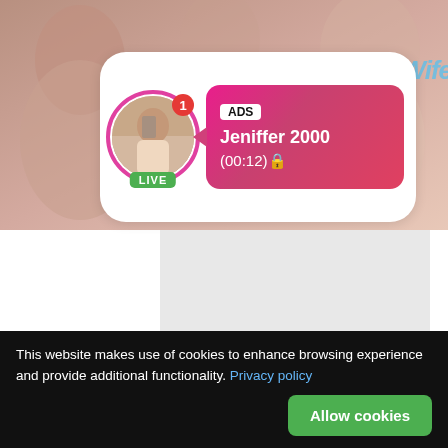[Figure (screenshot): Background photo of people, partially visible at top of page]
[Figure (screenshot): White rounded card with avatar (LIVE badge, notification badge), ADS bubble showing 'Jeniffer 2000 (00:12)' on pink-to-red gradient background]
[Figure (screenshot): Gray placeholder content area below the card]
This website makes use of cookies to enhance browsing experience and provide additional functionality. Privacy policy
Allow cookies